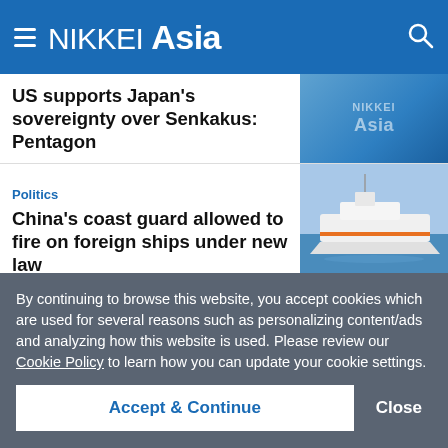NIKKEI Asia
US supports Japan's sovereignty over Senkakus: Pentagon
Politics
China's coast guard allowed to fire on foreign ships under new law
South China Sea
Philippines vows to continue maritime patrols in South China Sea
By continuing to browse this website, you accept cookies which are used for several reasons such as personalizing content/ads and analyzing how this website is used. Please review our Cookie Policy to learn how you can update your cookie settings.
Accept & Continue
Close